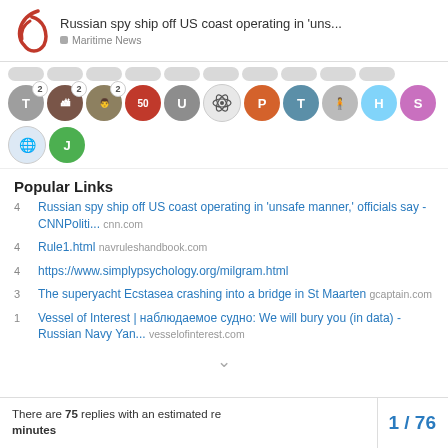Russian spy ship off US coast operating in 'uns... | Maritime News
[Figure (screenshot): Row of user avatars with badges and letters indicating forum participants]
Popular Links
4 Russian spy ship off US coast operating in 'unsafe manner,' officials say - CNNPoliti... cnn.com
4 Rule1.html navrulseshandbook.com
4 https://www.simplypsychology.org/milgram.html
3 The superyacht Ecstasea crashing into a bridge in St Maarten gcaptain.com
1 Vessel of Interest | наблюдаемое судно: We will bury you (in data) - Russian Navy Yan... vesselofinterest.com
There are 75 replies with an estimated re... minutes. 1 / 76